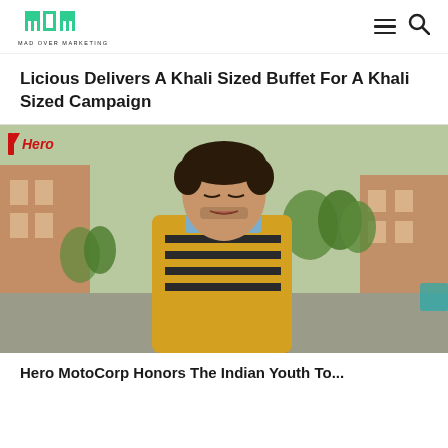MOM – Mad Over Marketing
Licious Delivers A Khali Sized Buffet For A Khali Sized Campaign
[Figure (photo): A young man wearing a yellow jacket over a striped black-and-white t-shirt and light blue collared shirt, standing on a street with trees and buildings in background. Hero MotoCorp logo visible in top-left corner of image.]
Hero MotoCorp Honors The Indian Youth To...